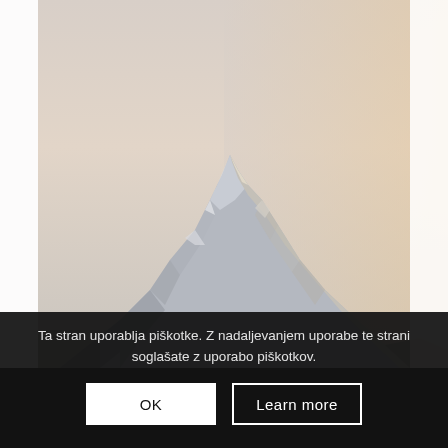[Figure (photo): A photograph of a snow-covered mountain peak (likely Triglav, Slovenia) against a pale pinkish-grey sky. The rocky face of the mountain dominates the image with snow on its ridges and slopes.]
Ta stran uporablja piškotke. Z nadaljevanjem uporabe te strani soglašate z uporabo piškotkov.